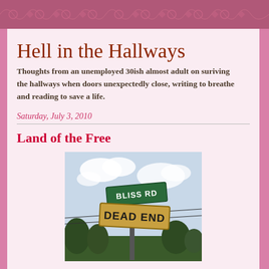Hell in the Hallways
Thoughts from an unemployed 30ish almost adult on suriving the hallways when doors unexpectedly close, writing to breathe and reading to save a life.
Saturday, July 3, 2010
Land of the Free
[Figure (photo): Street sign photo showing 'BLISS RD' green street sign above a yellow 'DEAD END' sign on a pole, with sky and trees visible in background]